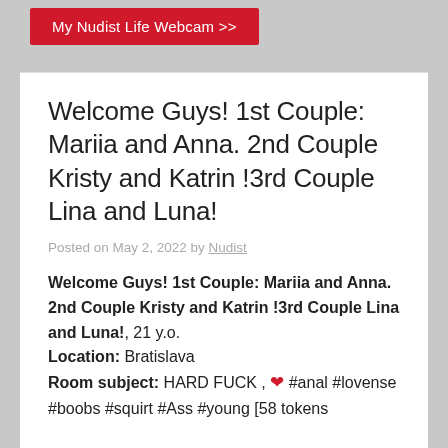[Figure (other): Red button banner: 'My Nudist Life Webcam >>']
Welcome Guys! 1st Couple: Mariia and Anna. 2nd Couple Kristy and Katrin !3rd Couple Lina and Luna!
Posted on May 2, 2022 by Nudist
Welcome Guys! 1st Couple: Mariia and Anna. 2nd Couple Kristy and Katrin !3rd Couple Lina and Luna!, 21 y.o.
Location: Bratislava
Room subject: HARD FUCK , ❤ #anal #lovense #boobs #squirt #Ass #young [58 tokens